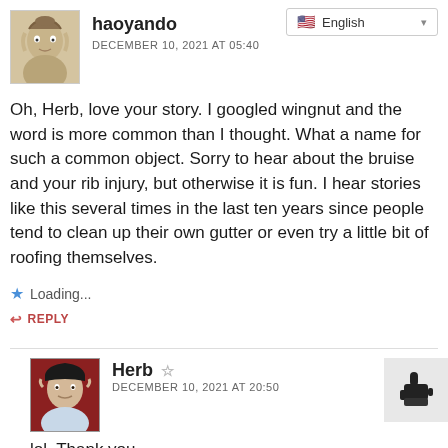[Figure (screenshot): Language selector dropdown showing English with US flag]
[Figure (photo): Avatar photo of user haoyando - vintage style portrait photo]
haoyando
DECEMBER 10, 2021 AT 05:40
Oh, Herb, love your story. I googled wingnut and the word is more common than I thought. What a name for such a common object. Sorry to hear about the bruise and your rib injury, but otherwise it is fun. I hear stories like this several times in the last ten years since people tend to clean up their own gutter or even try a little bit of roofing themselves.
Loading...
REPLY
[Figure (photo): Avatar photo of user Herb - man in dark hat with red background]
Herb
DECEMBER 10, 2021 AT 20:50
lol. Thank you.
[Figure (illustration): Thumbs up / pointing hand cursor icon in gray box]